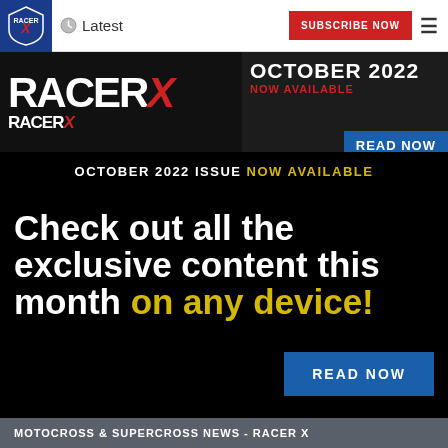Latest | SUBSCRIBE NOW
[Figure (logo): Racer X magazine logo and navigation bar with shield logo, Latest link, SUBSCRIBE NOW button, and hamburger menu]
[Figure (infographic): Racer X October 2022 issue banner with magazine logo, OCTOBER 2022 NOW AVAILABLE text, and READ NOW button]
OCTOBER 2022 ISSUE NOW AVAILABLE
Check out all the exclusive content this month on any device!
READ NOW
MOTOCROSS & SUPERCROSS NEWS - RACER X